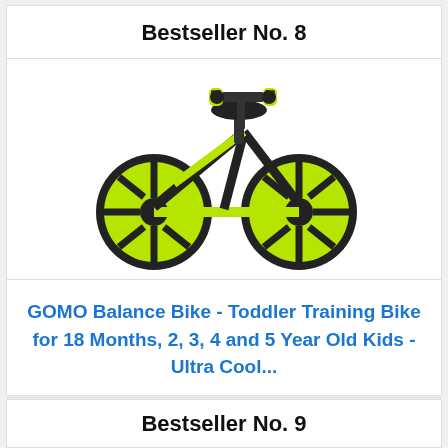Bestseller No. 8
[Figure (photo): GOMO balance bike for kids with black frame and neon yellow/green wheels and grips, photographed on white background]
GOMO Balance Bike - Toddler Training Bike for 18 Months, 2, 3, 4 and 5 Year Old Kids - Ultra Cool...
Buy on Amazon
Bestseller No. 9